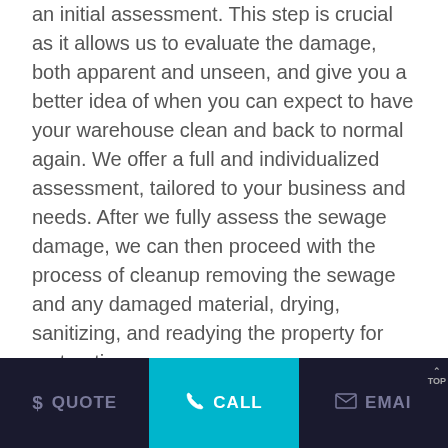an initial assessment. This step is crucial as it allows us to evaluate the damage, both apparent and unseen, and give you a better idea of when you can expect to have your warehouse clean and back to normal again. We offer a full and individualized assessment, tailored to your business and needs. After we fully assess the sewage damage, we can then proceed with the process of cleanup removing the sewage and any damaged material, drying, sanitizing, and readying the property for restoration.
Working With Your Long Island, NY Insurance Policy on Your Sewage Damage and Cleanup
We will be happy to assist you in navigating the complex world of insurance. We work with insurance on a regular basis and can act as a liaison between you and your insurance company. It is important for you to act quick
$ QUOTE   CALL   EMAIL   TOP